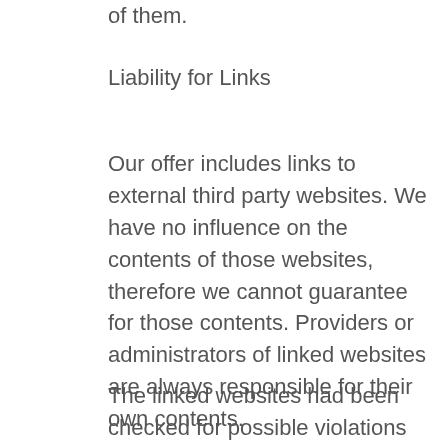of them.
Liability for Links
Our offer includes links to external third party websites. We have no influence on the contents of those websites, therefore we cannot guarantee for those contents. Providers or administrators of linked websites are always responsible for their own contents.
The linked websites had been checked for possible violations of